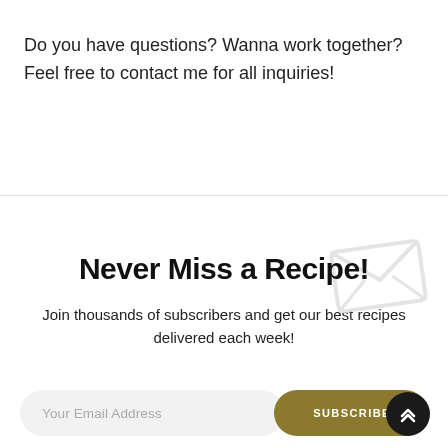Do you have questions? Wanna work together? Feel free to contact me for all inquiries!
Never Miss a Recipe!
Join thousands of subscribers and get our best recipes delivered each week!
Your Email Address
SUBSCRIBE